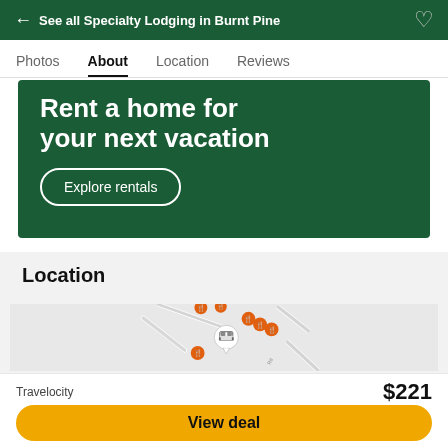← See all Specialty Lodging in Burnt Pine
Photos
About
Location
Reviews
[Figure (infographic): Dark green promotional banner with bold white text reading 'Rent a home for your next vacation' and a white-outlined rounded button labeled 'Explore rentals']
Location
[Figure (map): Map showing hotel location marker (bed icon in white circle with speech bubble pointer) surrounded by several orange restaurant/dining pin markers on a light grey street map. A road labeled 'Rd' is visible.]
Travelocity
$221
View deal